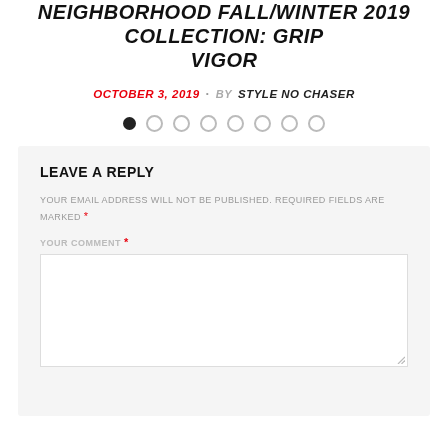NEIGHBORHOOD FALL/WINTER 2019 COLLECTION: GRIP VIGOR
OCTOBER 3, 2019 · BY STYLE NO CHASER
[Figure (other): Pagination dots row: one filled black dot followed by seven empty/outlined dots]
LEAVE A REPLY
YOUR EMAIL ADDRESS WILL NOT BE PUBLISHED. REQUIRED FIELDS ARE MARKED *
YOUR COMMENT *
[Figure (other): Empty comment text area input box with resize handle]